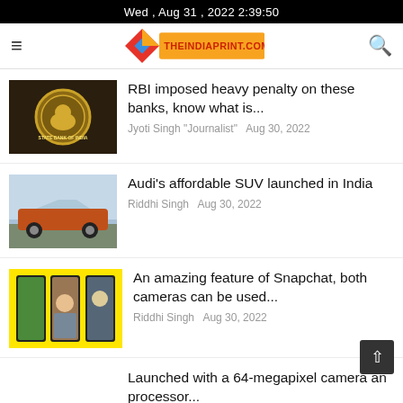Wed , Aug 31 , 2022 2:39:50
[Figure (logo): TheIndiaPrint.com navigation bar with hamburger menu and search icon]
[Figure (photo): RBI Reserve Bank of India seal/logo on a dark background]
RBI imposed heavy penalty on these banks, know what is...
Jyoti Singh "Journalist"   Aug 30, 2022
[Figure (photo): Orange Audi SUV parked outdoors]
Audi's affordable SUV launched in India
Riddhi Singh   Aug 30, 2022
[Figure (photo): Snapchat dual camera feature screenshots on yellow background]
An amazing feature of Snapchat, both cameras can be used...
Riddhi Singh   Aug 30, 2022
Launched with a 64-megapixel camera and processor...
Riddhi Singh   Aug 30, 2022